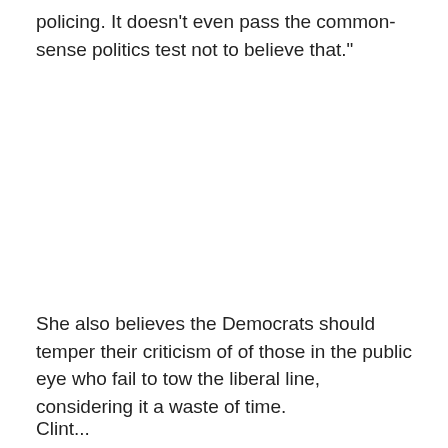policing. It doesn't even pass the common-sense politics test not to believe that."
She also believes the Democrats should temper their criticism of of those in the public eye who fail to tow the liberal line, considering it a waste of time.
Clint...